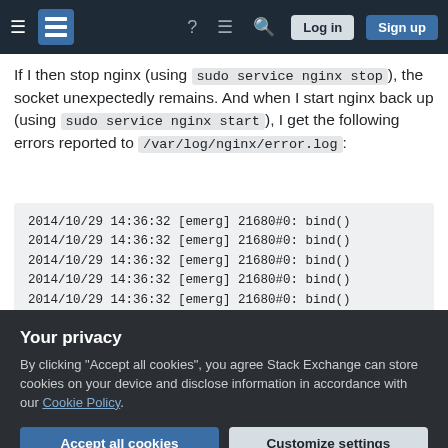Stack Exchange navigation bar with Log in and Sign up buttons
If I then stop nginx (using sudo service nginx stop ), the socket unexpectedly remains. And when I start nginx back up (using sudo service nginx start ), I get the following errors reported to /var/log/nginx/error.log :
2014/10/29 14:36:32 [emerg] 21680#0: bind()
2014/10/29 14:36:32 [emerg] 21680#0: bind()
2014/10/29 14:36:32 [emerg] 21680#0: bind()
2014/10/29 14:36:32 [emerg] 21680#0: bind()
2014/10/29 14:36:32 [emerg] 21680#0: bind()
2014/10/29 14:36:32 [emerg] 21680#0: still
Your privacy
By clicking "Accept all cookies", you agree Stack Exchange can store cookies on your device and disclose information in accordance with our Cookie Policy.
NOTE: There are no other sites running with nginx,